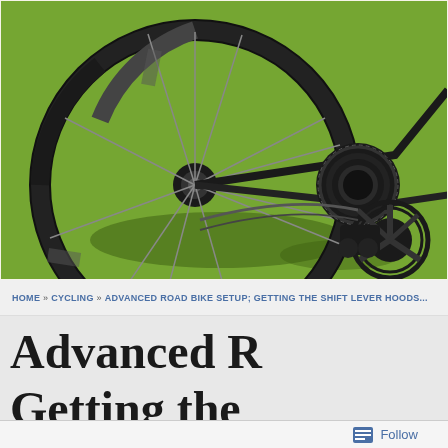[Figure (photo): Close-up photograph of a road bicycle rear wheel and drivetrain (chain, cassette, derailleur, chainring) on green grass in sunlight, showing a carbon wheel with distinctive spoke pattern.]
HOME » CYCLING » ADVANCED ROAD BIKE SETUP; GETTING THE SHIFT LEVER HOODS...
Advanced Road Bike Setup; Getting the Shift Lever Hoods Right
Follow